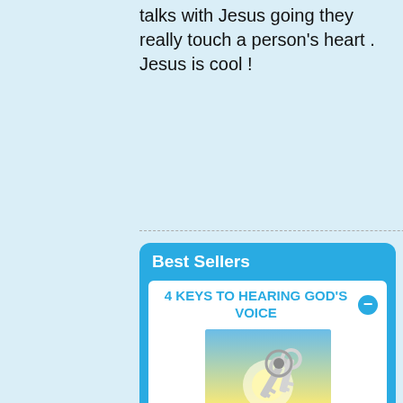talks with Jesus going they really touch a person's heart . Jesus is cool !
Best Sellers
4 KEYS TO HEARING GOD'S VOICE
[Figure (photo): Book cover of '4 Keys to Hearing God's Voice' showing keys against a bright sky and green field background]
Guaranteed to teach you to hear God's voice!
more info...